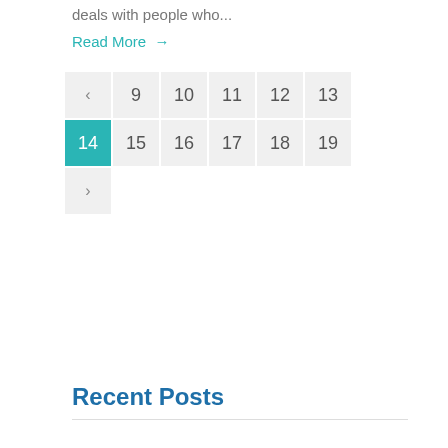deals with people who...
Read More →
[Figure (other): Pagination widget showing page numbers 9-19 with page 14 highlighted in teal, left arrow and right arrow navigation buttons]
Recent Posts